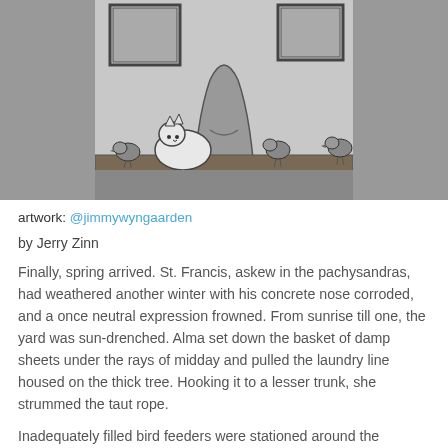[Figure (illustration): Black and white ink illustration showing birds perched on a branch or ledge around a robed figure (St. Francis), with framed artwork visible in the background.]
artwork: @jimmywyngaarden
by Jerry Zinn
Finally, spring arrived. St. Francis, askew in the pachysandras, had weathered another winter with his concrete nose corroded, and a once neutral expression frowned. From sunrise till one, the yard was sun-drenched. Alma set down the basket of damp sheets under the rays of midday and pulled the laundry line housed on the thick tree. Hooking it to a lesser trunk, she strummed the taut rope.
Inadequately filled bird feeders were stationed around the